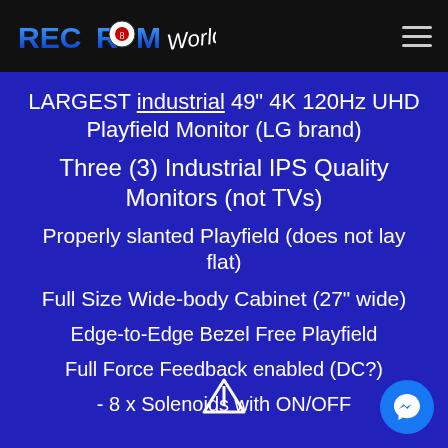[Figure (logo): Rec Room World logo in colorful text on dark background]
LARGEST industrial 49" 4K 120Hz UHD Playfield Monitor (LG brand)
Three (3) Industrial IPS Quality Monitors (not TVs)
Properly slanted Playfield (does not lay flat)
Full Size Wide-body Cabinet (27" wide)
Edge-to-Edge Bezel Free Playfield
Full Force Feedback enabled (DC?) - 8 x Solenoids with ON/OFF